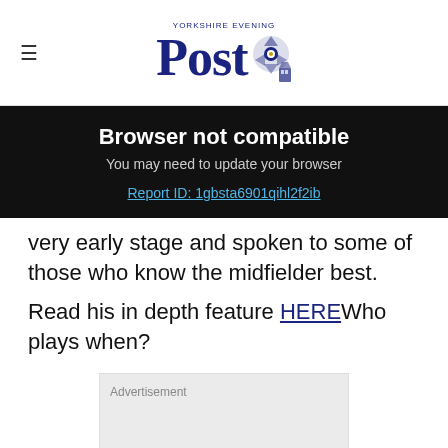Yorkshire Evening Post
Browser not compatible
You may need to update your browser
Report ID: 1gbsta6901qihl2f2ib
very early stage and spoken to some of those who know the midfielder best.
Read his in depth feature HEREWho plays when?
[Figure (other): Advertisement placeholder box]